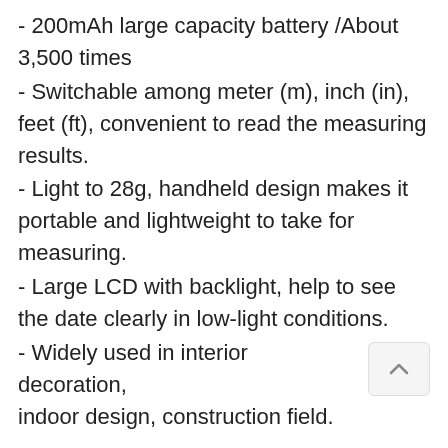- 200mAh large capacity battery /About 3,500 times
- Switchable among meter (m), inch (in), feet (ft), convenient to read the measuring results.
- Light to 28g, handheld design makes it portable and lightweight to take for measuring.
- Large LCD with backlight, help to see the date clearly in low-light conditions.
- Widely used in interior decoration, indoor design, construction field.